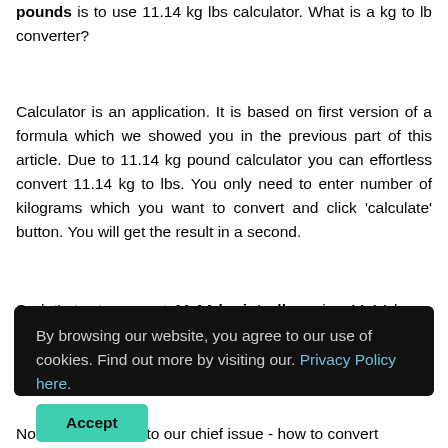pounds is to use 11.14 kg lbs calculator. What is a kg to lb converter?
Calculator is an application. It is based on first version of a formula which we showed you in the previous part of this article. Due to 11.14 kg pound calculator you can effortless convert 11.14 kg to lbs. You only need to enter number of kilograms which you want to convert and click 'calculate' button. You will get the result in a second.
So let's try to convert 11.14 kg into lbs using 11.14 kg vs pound calculator. We entered 11.14 as an amount of
By browsing our website, you agree to our use of cookies. Find out more by visiting our. Privacy Policy here. Accept
Now let's move on to our chief issue - how to convert